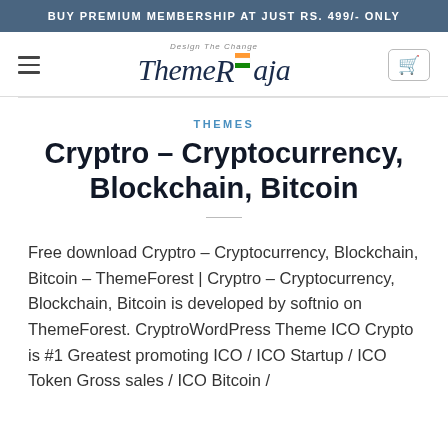BUY PREMIUM MEMBERSHIP AT JUST RS. 499/- ONLY
[Figure (logo): ThemeRaja logo with Indian flag and cart icon navigation bar]
THEMES
Cryptro – Cryptocurrency, Blockchain, Bitcoin
Free  download Cryptro – Cryptocurrency, Blockchain, Bitcoin – ThemeForest | Cryptro – Cryptocurrency, Blockchain, Bitcoin is developed by softnio on ThemeForest. CryptroWordPress Theme ICO Crypto is #1 Greatest promoting ICO / ICO Startup / ICO Token Gross sales / ICO Bitcoin /